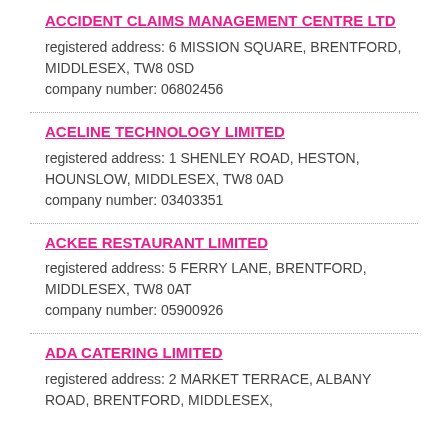ACCIDENT CLAIMS MANAGEMENT CENTRE LTD
registered address: 6 MISSION SQUARE, BRENTFORD, MIDDLESEX, TW8 0SD
company number: 06802456
ACELINE TECHNOLOGY LIMITED
registered address: 1 SHENLEY ROAD, HESTON, HOUNSLOW, MIDDLESEX, TW8 0AD
company number: 03403351
ACKEE RESTAURANT LIMITED
registered address: 5 FERRY LANE, BRENTFORD, MIDDLESEX, TW8 0AT
company number: 05900926
ADA CATERING LIMITED
registered address: 2 MARKET TERRACE, ALBANY ROAD, BRENTFORD, MIDDLESEX,